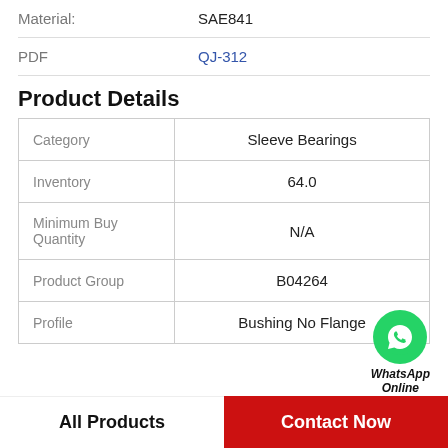|  |  |
| --- | --- |
| Material: | SAE841 |
| PDF | QJ-312 |
Product Details
| Category | Inventory | Minimum Buy Quantity | Product Group | Profile |
| --- | --- | --- | --- | --- |
| Category | Sleeve Bearings |
| Inventory | 64.0 |
| Minimum Buy Quantity | N/A |
| Product Group | B04264 |
| Profile | Bushing No Flange |
All Products
Contact Now